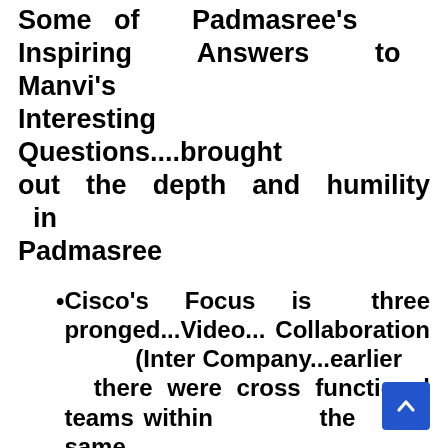Some of Padmasree's Inspiring Answers to Manvi's Interesting Questions....brought out the depth and humility in Padmasree
Cisco's Focus is three pronged...Video...Collaboration (Inter Company...earlier there were cross functional teams within the same organisation)....Virtualisation
Lines are getting Blurred between Life and Work
Internet Mobility will be